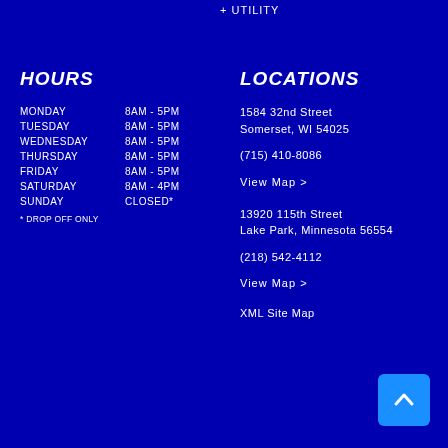+ UTILITY
HOURS
| DAY | HOURS |
| --- | --- |
| MONDAY | 8AM - 5PM |
| TUESDAY | 8AM - 5PM |
| WEDNESDAY | 8AM - 5PM |
| THURSDAY | 8AM - 5PM |
| FRIDAY | 8AM - 5PM |
| SATURDAY | 8AM - 4PM |
| SUNDAY | CLOSED* |
* DROP OFF ONLY
LOCATIONS
1584 32nd Street
Somerset, WI 54025
(715) 410-8086
View Map >
13920 115th Street
Lake Park, Minnesota 56554
(218) 542-4112
View Map >
XML Site Map